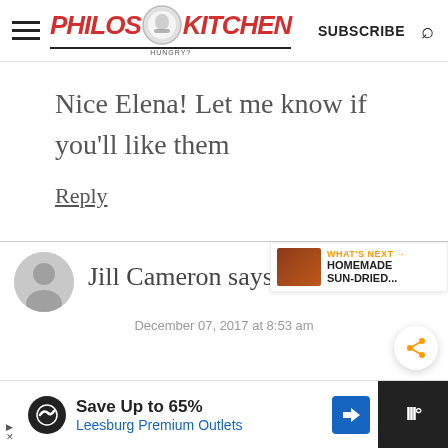Philos Kitchen — SUBSCRIBE
Nice Elena! Let me know if you'll like them
Reply
Jill Cameron says
December 07, 2017 at 8:53 am
WHAT'S NEXT → HOMEMADE SUN-DRIED...
Save Up to 65% Leesburg Premium Outlets